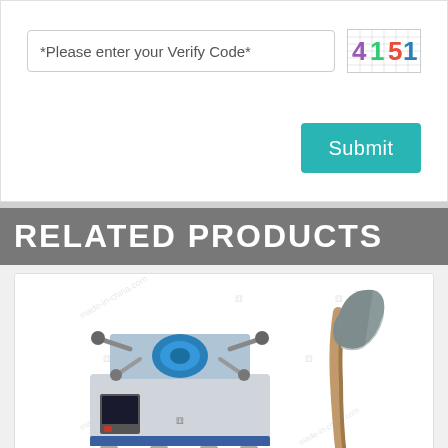*Please enter your Verify Code*
[Figure (screenshot): CAPTCHA verification code showing digits 4 1 5 1 in different colors on a grid background]
Submit
RELATED PRODUCTS
[Figure (photo): Industrial grinding/sharpening machine (gray and blue box-style machine with attachments) on the left and a wooden-handled axe on the right, both shown as product images with watermarks]